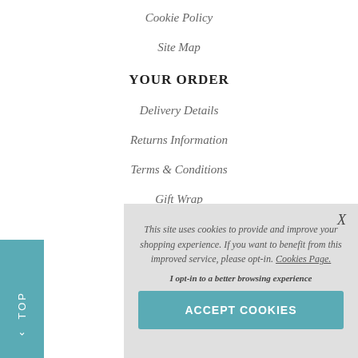Cookie Policy
Site Map
YOUR ORDER
Delivery Details
Returns Information
Terms & Conditions
Gift Wrap
This site uses cookies to provide and improve your shopping experience. If you want to benefit from this improved service, please opt-in. Cookies Page.
I opt-in to a better browsing experience
ACCEPT COOKIES
QUICK LINKS